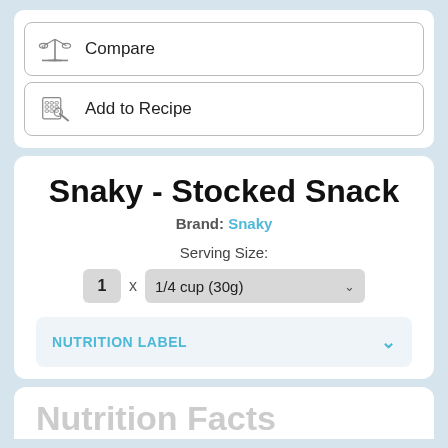[Figure (screenshot): Compare button with balance scale icon]
[Figure (screenshot): Add to Recipe button with calculator/recipe icon]
Snaky - Stocked Snack
Brand: Snaky
Serving Size:
1 x 1/4 cup (30g)
NUTRITION LABEL
Nutrition Facts